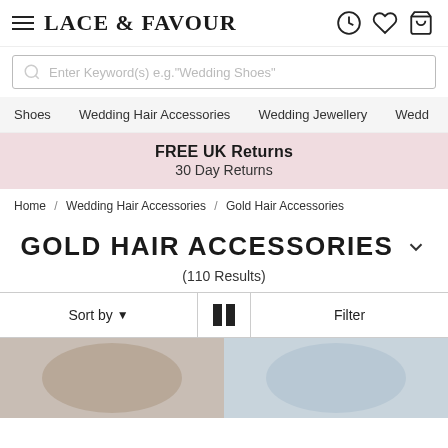LACE & FAVOUR
Enter Keyword(s) e.g. "Wedding Shoes"
Shoes   Wedding Hair Accessories   Wedding Jewellery   Wedd
FREE UK Returns
30 Day Returns
Home / Wedding Hair Accessories / Gold Hair Accessories
GOLD HAIR ACCESSORIES
(110 Results)
Sort by   Filter